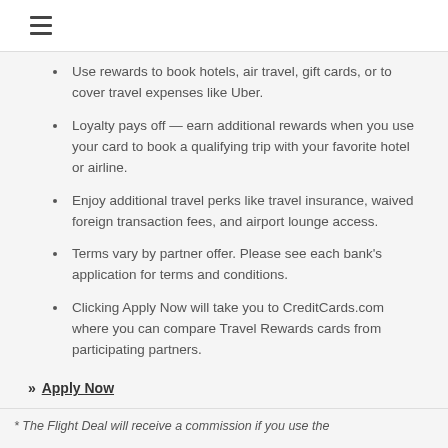≡ (hamburger menu icon)
Use rewards to book hotels, air travel, gift cards, or to cover travel expenses like Uber.
Loyalty pays off — earn additional rewards when you use your card to book a qualifying trip with your favorite hotel or airline.
Enjoy additional travel perks like travel insurance, waived foreign transaction fees, and airport lounge access.
Terms vary by partner offer. Please see each bank's application for terms and conditions.
Clicking Apply Now will take you to CreditCards.com where you can compare Travel Rewards cards from participating partners.
» Apply Now
* The Flight Deal will receive a commission if you use the